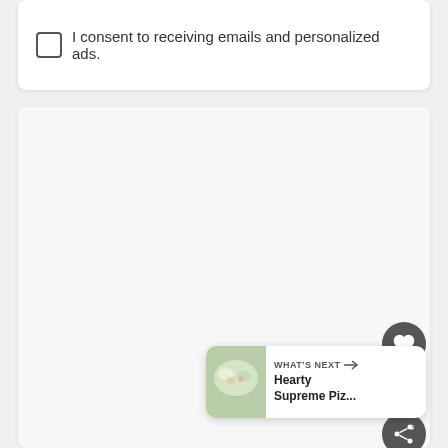I consent to receiving emails and personalized ads.
[Figure (screenshot): Large light-gray content area card]
354
WHAT'S NEXT → Hearty Supreme Piz...